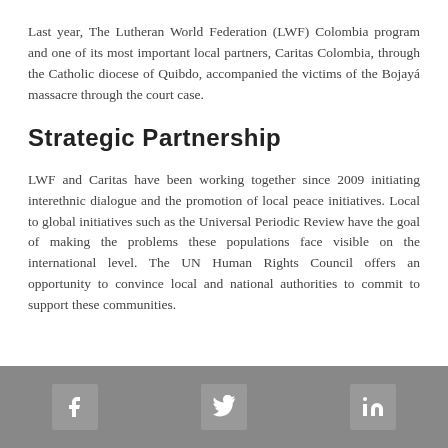Last year, The Lutheran World Federation (LWF) Colombia program and one of its most important local partners, Caritas Colombia, through the Catholic diocese of Quibdo, accompanied the victims of the Bojayá massacre through the court case.
Strategic Partnership
LWF and Caritas have been working together since 2009 initiating interethnic dialogue and the promotion of local peace initiatives. Local to global initiatives such as the Universal Periodic Review have the goal of making the problems these populations face visible on the international level. The UN Human Rights Council offers an opportunity to convince local and national authorities to commit to support these communities.
Facebook, Twitter, LinkedIn social media icons